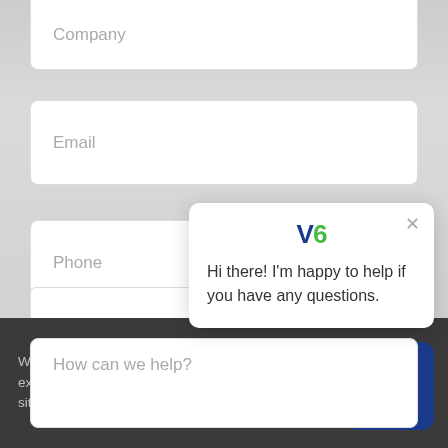Company
Email
Phone
How can we help?
[Figure (screenshot): Chat popup widget with V6 logo and message: Hi there! I'm happy to help if you have any questions.]
We use cookies to provide an optimal experience for our visitors. By using this site you agree to our Privacy Policy.